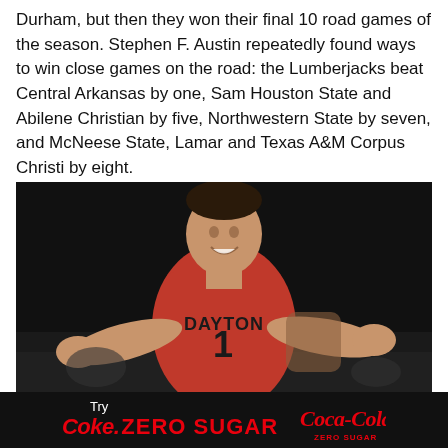Durham, but then they won their final 10 road games of the season. Stephen F. Austin repeatedly found ways to win close games on the road: the Lumberjacks beat Central Arkansas by one, Sam Houston State and Abilene Christian by five, Northwestern State by seven, and McNeese State, Lamar and Texas A&M Corpus Christi by eight.
[Figure (photo): Basketball player wearing a red Dayton jersey with number 1, arms spread wide, smiling, photographed during a game against a dark background.]
[Figure (infographic): Advertisement banner with black background. Text reads: Try Coke. ZERO SUGAR with Coca-Cola ZERO SUGAR logo on the right.]